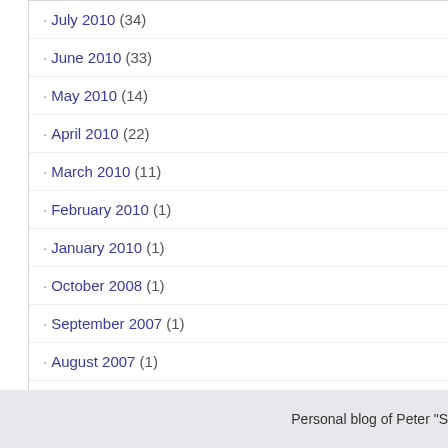· July 2010 (34)
· June 2010 (33)
· May 2010 (14)
· April 2010 (22)
· March 2010 (11)
· February 2010 (1)
· January 2010 (1)
· October 2008 (1)
· September 2007 (1)
· August 2007 (1)
· April 2006 (1)
· March 2006 (1)
· October 2004 (1)
bicycle, cycling, project road bike, projec
Personal blog of Peter "S